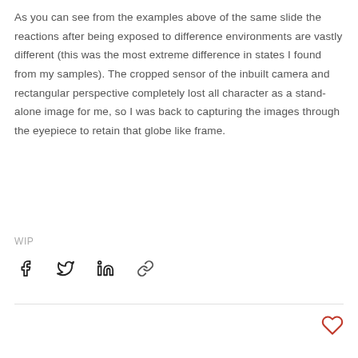As you can see from the examples above of the same slide the reactions after being exposed to difference environments are vastly different (this was the most extreme difference in states I found from my samples). The cropped sensor of the inbuilt camera and rectangular perspective completely lost all character as a stand-alone image for me, so I was back to capturing the images through the eyepiece to retain that globe like frame.
WIP
[Figure (other): Social share icons: Facebook, Twitter, LinkedIn, and link/copy icons]